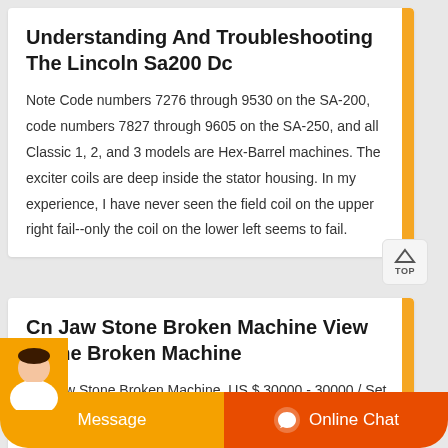Understanding And Troubleshooting The Lincoln Sa200 Dc
Note Code numbers 7276 through 9530 on the SA-200, code numbers 7827 through 9605 on the SA-250, and all Classic 1, 2, and 3 models are Hex-Barrel machines. The exciter coils are deep inside the stator housing. In my experience, I have never seen the field coil on the upper right fail--only the coil on the lower left seems to fail.
Cn Jaw Stone Broken Machine View Stone Broken Machine
CN Jaw Stone Broken Machine, US $ 30000 - 30000 / Set, Energy Mining, New, Jaw Crusher.Source from Zhengzhou Unique Industrial Equipment Co., Ltd. on Alibaba.com.